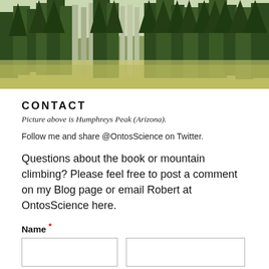[Figure (photo): Panoramic photo of a forested mountain meadow with conifer and aspen trees, representing Humphreys Peak, Arizona]
CONTACT
Picture above is Humphreys Peak (Arizona).
Follow me and share @OntosScience on Twitter.
Questions about the book or mountain climbing? Please feel free to post a comment on my Blog page or email Robert at OntosScience here.
Name *
First
Last